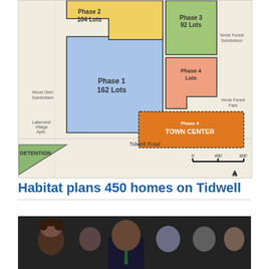[Figure (map): Site plan map showing phased development near Tidwell Road. Phase 1 (blue): 162 Lots, Phase 2 (yellow): 104 Lots, Phase 3 (green): 92 Lots, Phase 4 Lots (salmon/orange small area), Phase 4 Town Center (orange, large), Detention area (green triangle, bottom left). Adjacent areas: Wood Glen Subdivision (west), Lakecrest Village Apts. (southwest), Verde Forest Subdivision (northeast), Verde Forest Park (east). Scale: 0' 400' 800'. North arrow shown.]
Habitat plans 450 homes on Tidwell
[Figure (photo): Group photo of several people standing together, including a man in a dark suit and green tie in the center foreground, a woman with curly hair on the left, and several others in the background.]